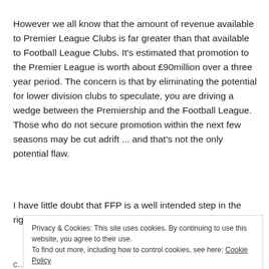However we all know that the amount of revenue available to Premier League Clubs is far greater than that available to Football League Clubs. It's estimated that promotion to the Premier League is worth about £90million over a three year period. The concern is that by eliminating the potential for lower division clubs to speculate, you are driving a wedge between the Premiership and the Football League. Those who do not secure promotion within the next few seasons may be cut adrift ... and that's not the only potential flaw.
I have little doubt that FFP is a well intended step in the right
Privacy & Cookies: This site uses cookies. By continuing to use this website, you agree to their use.
To find out more, including how to control cookies, see here: Cookie Policy
Close and accept